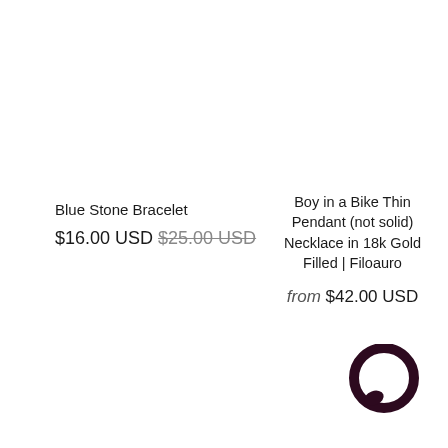Blue Stone Bracelet
$16.00 USD $25.00 USD
Boy in a Bike Thin Pendant (not solid) Necklace in 18k Gold Filled | Filoauro
from $42.00 USD
[Figure (logo): Dark purple/maroon circular chat bubble icon in the bottom-right corner]